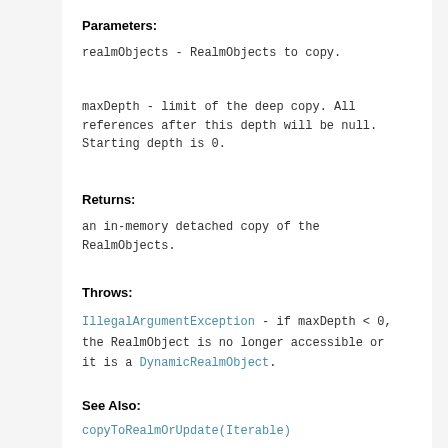Parameters:
realmObjects - RealmObjects to copy.
maxDepth - limit of the deep copy. All references after this depth will be null. Starting depth is 0.
Returns:
an in-memory detached copy of the RealmObjects.
Throws:
IllegalArgumentException - if maxDepth < 0, the RealmObject is no longer accessible or it is a DynamicRealmObject.
See Also:
copyToRealmOrUpdate(Iterable)
copyFromRealm
public <E extends RealmModel> E copyFromRealm(E r